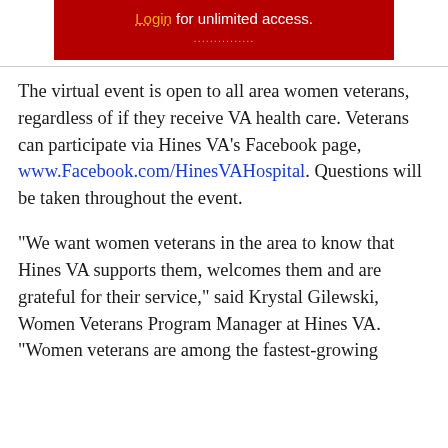[Figure (screenshot): Red login banner with orange 'Login' link text and white text 'for unlimited access.' with dotted underline below the link]
The virtual event is open to all area women veterans, regardless of if they receive VA health care. Veterans can participate via Hines VA's Facebook page, www.Facebook.com/HinesVAHospital. Questions will be taken throughout the event.
"We want women veterans in the area to know that Hines VA supports them, welcomes them and are grateful for their service," said Krystal Gilewski, Women Veterans Program Manager at Hines VA. "Women veterans are among the fastest-growing